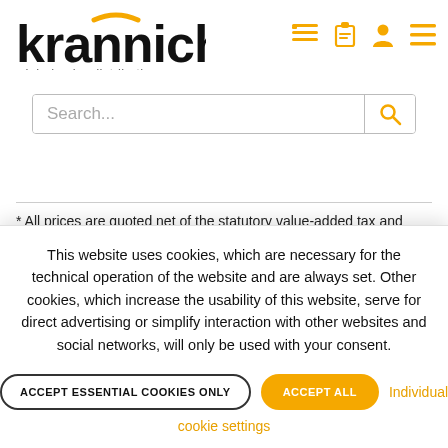[Figure (logo): Krannich Solar logo - black bold text 'krannich' with yellow arc above nn letters, tagline 'global solar distribution' below]
[Figure (infographic): Navigation icons: list/menu icon, clipboard icon, user/person icon, hamburger menu icon - all in orange/amber color]
[Figure (screenshot): Search bar with placeholder text 'Search...' and orange magnifying glass search button on right]
* All prices are quoted net of the statutory value-added tax and
This website uses cookies, which are necessary for the technical operation of the website and are always set. Other cookies, which increase the usability of this website, serve for direct advertising or simplify interaction with other websites and social networks, will only be used with your consent.
ACCEPT ESSENTIAL COOKIES ONLY
ACCEPT ALL
Individual cookie settings